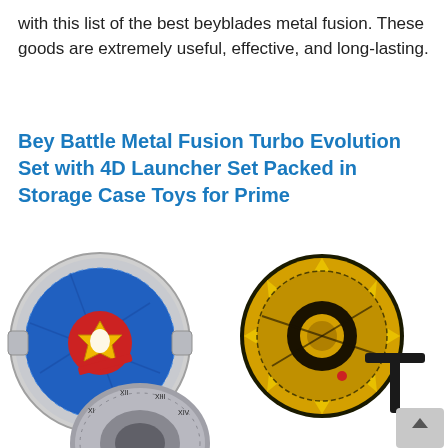with this list of the best beyblades metal fusion. These goods are extremely useful, effective, and long-lasting.
Bey Battle Metal Fusion Turbo Evolution Set with 4D Launcher Set Packed in Storage Case Toys for Prime
[Figure (photo): Two beyblades spinning tops — one blue with silver edges and red/gold center emblem, one yellow/black with ornate dragon-like design — plus a partial view of a grey/silver beyblade at the bottom and a black launcher accessory at lower right.]